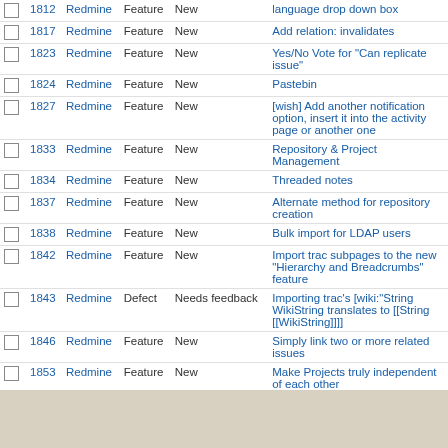|  | # | Project | Tracker | Status | Subject |
| --- | --- | --- | --- | --- | --- |
|  | 1812 | Redmine | Feature | New | language drop down box |
|  | 1817 | Redmine | Feature | New | Add relation: invalidates |
|  | 1823 | Redmine | Feature | New | Yes/No Vote for "Can replicate issue" |
|  | 1824 | Redmine | Feature | New | Pastebin |
|  | 1827 | Redmine | Feature | New | [wish] Add another notification option, insert it into the activity page or another one |
|  | 1833 | Redmine | Feature | New | Repository & Project Management |
|  | 1834 | Redmine | Feature | New | Threaded notes |
|  | 1837 | Redmine | Feature | New | Alternate method for repository creation |
|  | 1838 | Redmine | Feature | New | Bulk import for LDAP users |
|  | 1842 | Redmine | Feature | New | Import trac subpages to the new "Hierarchy and Breadcrumbs" feature |
|  | 1843 | Redmine | Defect | Needs feedback | Importing trac's [wiki:"String WikiString translates to [[String [[WikiString]]]] |
|  | 1846 | Redmine | Feature | New | Simply link two or more related issues |
|  | 1853 | Redmine | Feature | New | Make Projects truly independent of each other |
|  | 1856 | Redmine | Feature | New | Link syntax is inconsistent |
|  | 1857 | Redmine | Patch | New | Make {{toc}} render as properly nested + skip support |
« Previous 1 ... 4 5 6 7 8 ... 98 Next » (251-300/4873) Per page: 25, 50, 100